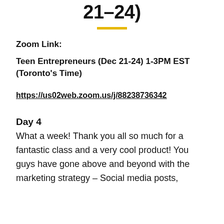21-24)
Zoom Link:
Teen Entrepreneurs (Dec 21-24) 1-3PM EST (Toronto's Time)
https://us02web.zoom.us/j/88238736342
Day 4
What a week! Thank you all so much for a fantastic class and a very cool product! You guys have gone above and beyond with the marketing strategy - Social media posts,